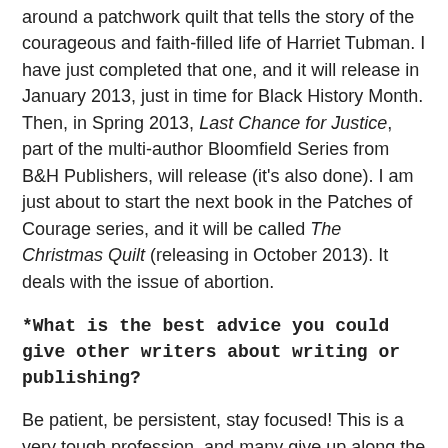around a patchwork quilt that tells the story of the courageous and faith-filled life of Harriet Tubman. I have just completed that one, and it will release in January 2013, just in time for Black History Month. Then, in Spring 2013, Last Chance for Justice, part of the multi-author Bloomfield Series from B&H Publishers, will release (it's also done). I am just about to start the next book in the Patches of Courage series, and it will be called The Christmas Quilt (releasing in October 2013). It deals with the issue of abortion.
*What is the best advice you could give other writers about writing or publishing?
Be patient, be persistent, stay focused! This is a very tough profession, and many give up along the way. Take your time and hone your craft. Go to writers' conferences. Join a critique group. Learn all you can and be disciplined to apply it. There are no easy shortcuts, so we must be willing and